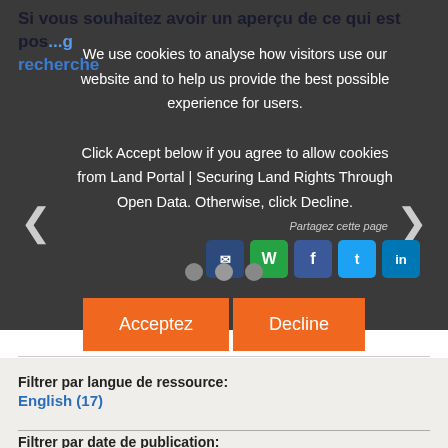Si vous souhaitez avoir un aperçu de ce qui est pos...g recherche
[Figure (screenshot): Cookie consent modal overlay on a dark background with text: 'We use cookies to analyse how visitors use our website and to help us provide the best possible experience for users. Click Accept below if you agree to allow cookies from Land Portal | Securing Land Rights Through Open Data. Otherwise, click Decline.' Two buttons: Acceptez and Decline. Carousel navigation arrows and dots visible. Social share icons (email, WhatsApp, Facebook, Twitter, LinkedIn) and 'Partagez cette page' label partially visible.]
Filtrer par langue de ressource:
English (17)
Filtrer par date de publication:
2015 (2)